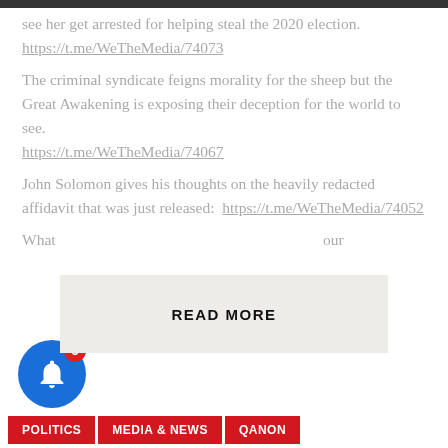see her get arrested for helping steal the 2020 election. https://t.me/WeTheMedia/74073
The criminal syndicate feigns morality for the sheep but the Great Awakening is exposing their deception for the world to see. https://t.me/WeTheMedia/74067
John Solomon gives his thoughts on the heavily redacted affidavit that was just released: https://t.me/WeTheMedia/74052
What... READ MORE
[Figure (other): Blue notification bell icon with red badge showing number 3]
POLITICS | MEDIA & NEWS | QANON